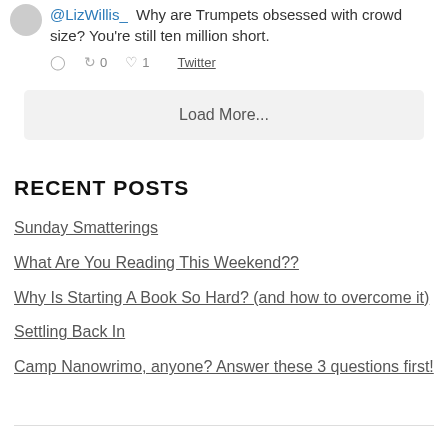@LizWillis_ Why are Trumpets obsessed with crowd size? You're still ten million short.
0  0  1  Twitter
Load More...
RECENT POSTS
Sunday Smatterings
What Are You Reading This Weekend??
Why Is Starting A Book So Hard? (and how to overcome it)
Settling Back In
Camp Nanowrimo, anyone? Answer these 3 questions first!